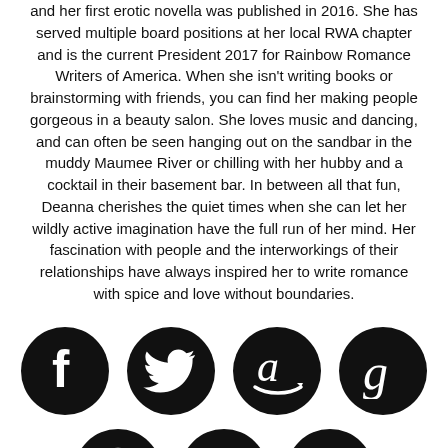and her first erotic novella was published in 2016. She has served multiple board positions at her local RWA chapter and is the current President 2017 for Rainbow Romance Writers of America. When she isn't writing books or brainstorming with friends, you can find her making people gorgeous in a beauty salon. She loves music and dancing, and can often be seen hanging out on the sandbar in the muddy Maumee River or chilling with her hubby and a cocktail in their basement bar. In between all that fun, Deanna cherishes the quiet times when she can let her wildly active imagination have the full run of her mind. Her fascination with people and the interworkings of their relationships have always inspired her to write romance with spice and love without boundaries.
[Figure (infographic): Social media icons row 1: Facebook, Twitter, Amazon, Goodreads — black circular icons]
[Figure (infographic): Social media icons row 2: Website (www globe), Instagram, Pinterest — black circular icons, partially visible]